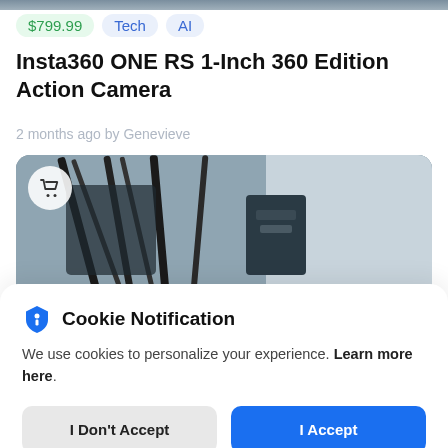[Figure (photo): Partial product page screenshot showing top strip image of camera equipment]
$799.99  Tech  AI
Insta360 ONE RS 1-Inch 360 Edition Action Camera
2 months ago by Genevieve
[Figure (photo): Photo of action camera mounted on equipment, dark cables visible against grey background, with shopping cart badge overlay]
Cookie Notification
We use cookies to personalize your experience. Learn more here.
I Don't Accept
I Accept